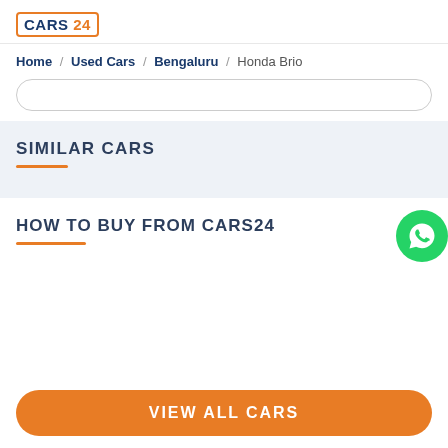CARS 24
Home / Used Cars / Bengaluru / Honda Brio
SIMILAR CARS
HOW TO BUY FROM CARS24
VIEW ALL CARS